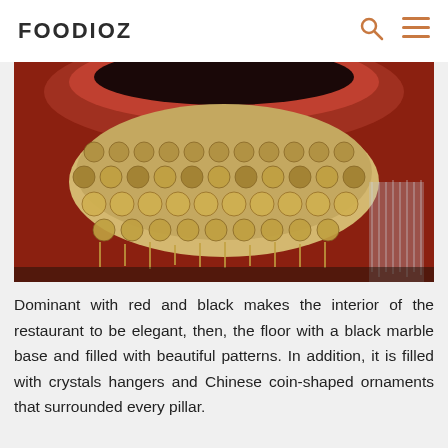FOODIOZ
[Figure (photo): Interior photo of a restaurant showing a large ornate chandelier with circular coin-shaped ornaments hanging from the ceiling, set against a red and black interior backdrop with crystal decorations]
Dominant with red and black makes the interior of the restaurant to be elegant, then, the floor with a black marble base and filled with beautiful patterns. In addition, it is filled with crystals hangers and Chinese coin-shaped ornaments that surrounded every pillar.
[Figure (photo): Interior photo of the same restaurant showing ornate pillars with coin-shaped ornaments, dramatic red ceiling with black floral cutouts, and a central illuminated fountain feature with purple/violet lighting]